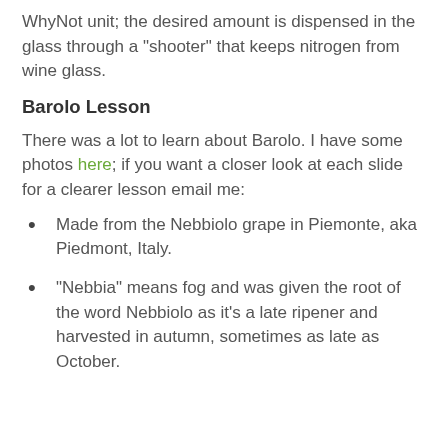WhyNot unit; the desired amount is dispensed in the glass through a "shooter" that keeps nitrogen from wine glass.
Barolo Lesson
There was a lot to learn about Barolo. I have some photos here; if you want a closer look at each slide for a clearer lesson email me:
Made from the Nebbiolo grape in Piemonte, aka Piedmont, Italy.
"Nebbia" means fog and was given the root of the word Nebbiolo as it's a late ripener and harvested in autumn, sometimes as late as October.